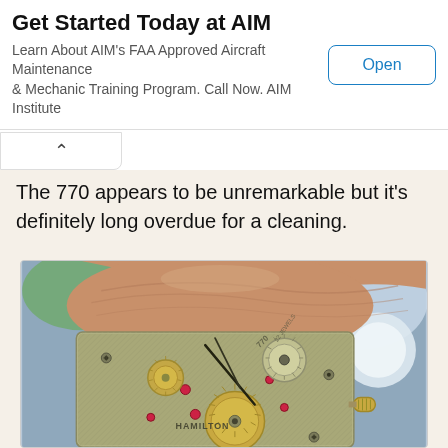Get Started Today at AIM
Learn About AIM's FAA Approved Aircraft Maintenance & Mechanic Training Program. Call Now. AIM Institute
Open
The 770 appears to be unremarkable but it's definitely long overdue for a cleaning.
[Figure (photo): Close-up photo of a Hamilton 770 watch movement being held between fingers, showing gears, jewels, balance wheel, and winding crown. The movement is labeled 'HAMILTON' and '770' with '22 JEWELS' engraved on the plate.]